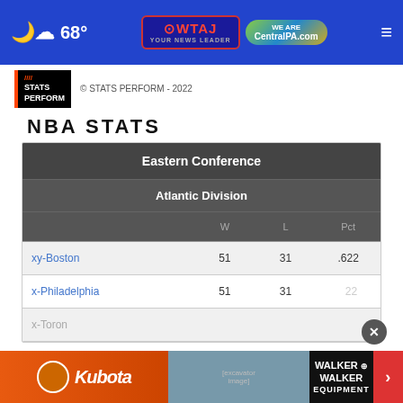☁ 68° | OWTAJ YOUR NEWS LEADER | CentralPA.com
[Figure (logo): Stats Perform logo with copyright notice: © STATS PERFORM - 2022]
NBA STATS
|  | W | L | Pct |
| --- | --- | --- | --- |
| Eastern Conference |  |  |  |
| Atlantic Division |  |  |  |
| xy-Boston | 51 | 31 | .622 |
| x-Philadelphia | 51 | 31 | .622 |
| x-Toronto |  |  |  |
[Figure (screenshot): Advertisement banner: Kubota equipment and Walker & Walker Equipment with close button and arrow]